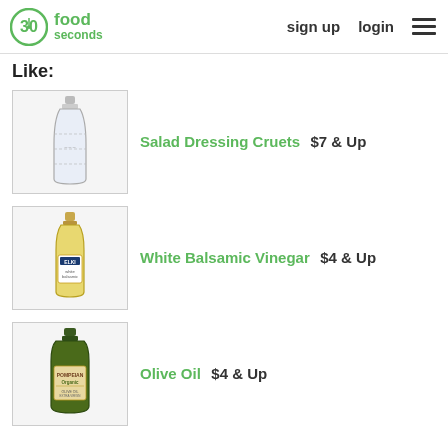30seconds food | sign up | login
Like:
[Figure (photo): Glass salad dressing cruet bottle]
Salad Dressing Cruets  $7 & Up
[Figure (photo): Bottle of white balsamic vinegar]
White Balsamic Vinegar  $4 & Up
[Figure (photo): Bottle of olive oil]
Olive Oil  $4 & Up